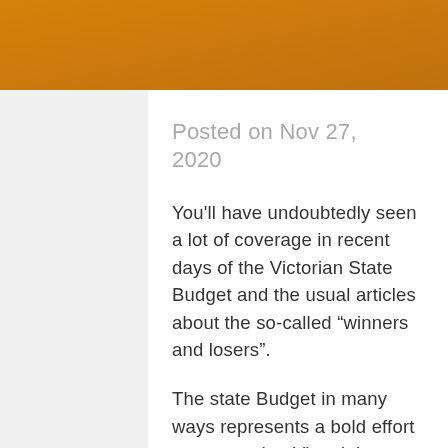Posted on Nov 27, 2020
You'll have undoubtedly seen a lot of coverage in recent days of the Victorian State Budget and the usual articles about the so-called “winners and losers”.
The state Budget in many ways represents a bold effort to ensure that Victoria’s economy can recover as quickly as possible as the state works towards being COVID safe.